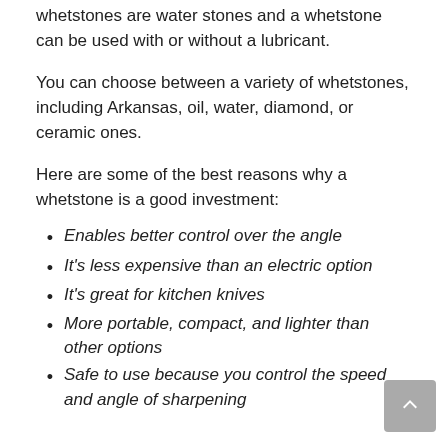whetstones are water stones and a whetstone can be used with or without a lubricant.
You can choose between a variety of whetstones, including Arkansas, oil, water, diamond, or ceramic ones.
Here are some of the best reasons why a whetstone is a good investment:
Enables better control over the angle
It's less expensive than an electric option
It's great for kitchen knives
More portable, compact, and lighter than other options
Safe to use because you control the speed and angle of sharpening